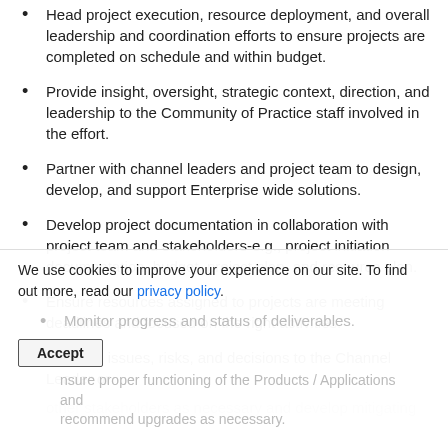Head project execution, resource deployment, and overall leadership and coordination efforts to ensure projects are completed on schedule and within budget.
Provide insight, oversight, strategic context, direction, and leadership to the Community of Practice staff involved in the effort.
Partner with channel leaders and project team to design, develop, and support Enterprise wide solutions.
Develop project documentation in collaboration with project team and stakeholders-e.g., project initiation documentation, budget, project plan, and resource plan.
Ensure resources assigned to projects are meeting deadlines and focused on the right activities.
Escalate issues, risks, and decisions to the Channel Leader or other stakeholders as necessary and develop mitigating
We use cookies to improve your experience on our site. To find out more, read our privacy policy.
Monitor progress and status of deliverables.
Ensure proper functioning of the Products / Applications and recommend upgrades as necessary.